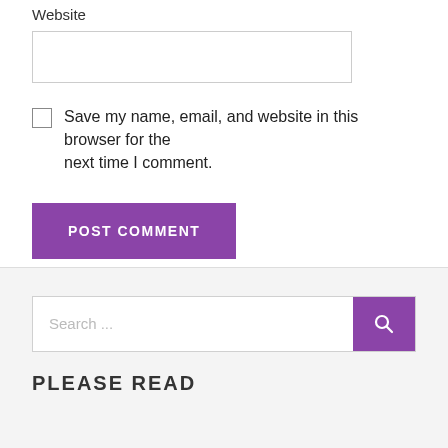Website
Save my name, email, and website in this browser for the next time I comment.
POST COMMENT
Search ...
PLEASE READ